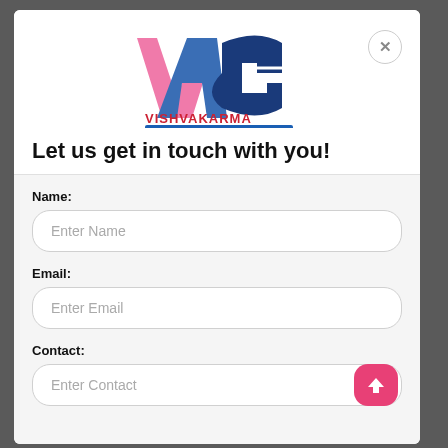[Figure (logo): Vishvakarma Amusement Games logo with stylized VAG letters in pink, blue and dark blue, with red text VISHVAKARMA and blue banner AMUSEMENT GAMES]
Let us get in touch with you!
Name:
Enter Name
Email:
Enter Email
Contact:
Enter Contact